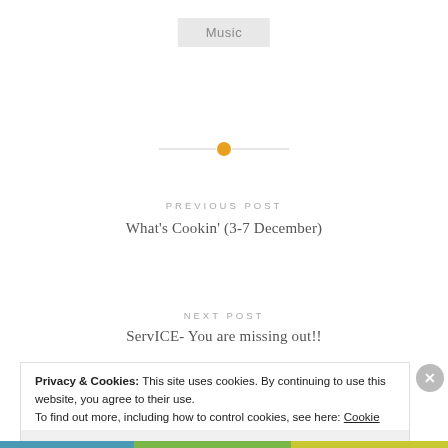Music
[Figure (other): Horizontal divider line with orange circle dot in the center]
PREVIOUS POST
What's Cookin' (3-7 December)
NEXT POST
ServICE- You are missing out!!
Privacy & Cookies: This site uses cookies. By continuing to use this website, you agree to their use.
To find out more, including how to control cookies, see here: Cookie Policy
Close and accept